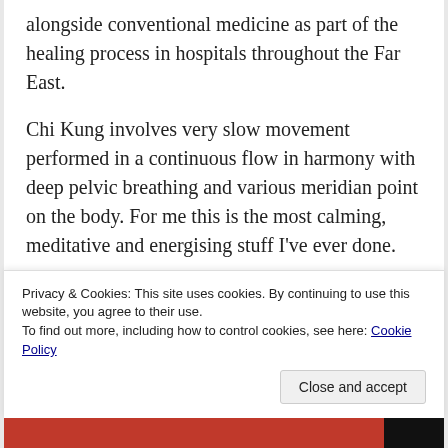alongside conventional medicine as part of the healing process in hospitals throughout the Far East.
Chi Kung involves very slow movement performed in a continuous flow in harmony with deep pelvic breathing and various meridian point on the body. For me this is the most calming, meditative and energising stuff I've ever done.
[Figure (photo): Podcast artwork cards showing '99% Invisible' text in yellow on black with grid pattern, overlapping blue and green cards]
Privacy & Cookies: This site uses cookies. By continuing to use this website, you agree to their use.
To find out more, including how to control cookies, see here: Cookie Policy
Close and accept